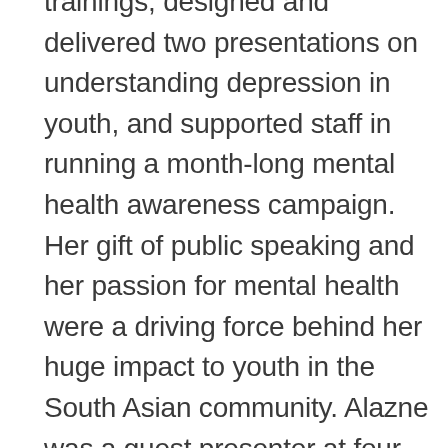trainings, designed and delivered two presentations on understanding depression in youth, and supported staff in running a month-long mental health awareness campaign. Her gift of public speaking and her passion for mental health were a driving force behind her huge impact to youth in the South Asian community. Alazne was a guest presenter at four of CIWA's Youth Empowerment Summits, where she served as an inspiration to youth by showing them that you are never too young for your voice to be heard and to fight for what you believe in. Alazne also committed eight months as a career